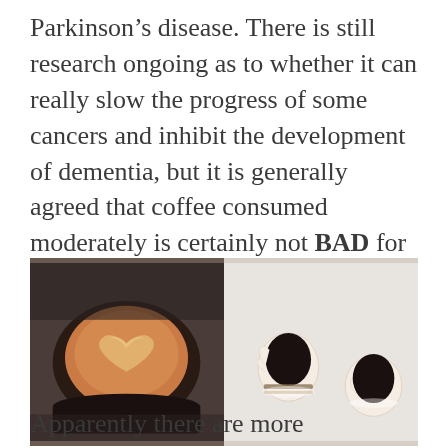Parkinson's disease. There is still research ongoing as to whether it can really slow the progress of some cancers and inhibit the development of dementia, but it is generally agreed that coffee consumed moderately is certainly not BAD for us. Which is great! Especially as a lot of other liquids I imbibe certainly are!
[Figure (photo): Left: close-up photo of a latte art coffee in a dark mug with a heart pattern in the foam. Right: overhead view of two hands holding white coffee mugs with dark coffee against a light background.]
Apparently there are more antioxidants in coffee than most other foods or drinks we consume.